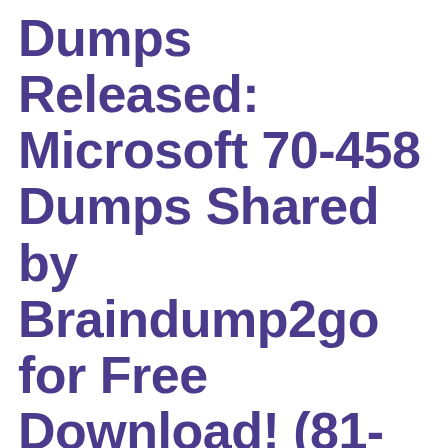Dumps Released: Microsoft 70-458 Dumps Shared by Braindump2go for Free Download! (81-90)
FEBRUARY 27, 2015
Microsoft Official Exam Center New Released 70-458 Dumps Questions, Many New Questions added into it!